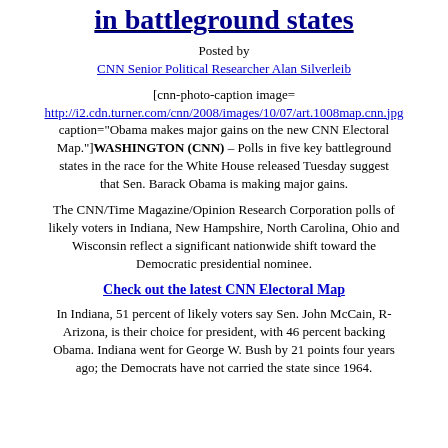in battleground states
Posted by
CNN Senior Political Researcher Alan Silverleib
[cnn-photo-caption image= http://i2.cdn.turner.com/cnn/2008/images/10/07/art.1008map.cnn.jpg caption="Obama makes major gains on the new CNN Electoral Map."] WASHINGTON (CNN) – Polls in five key battleground states in the race for the White House released Tuesday suggest that Sen. Barack Obama is making major gains.
The CNN/Time Magazine/Opinion Research Corporation polls of likely voters in Indiana, New Hampshire, North Carolina, Ohio and Wisconsin reflect a significant nationwide shift toward the Democratic presidential nominee.
Check out the latest CNN Electoral Map
In Indiana, 51 percent of likely voters say Sen. John McCain, R-Arizona, is their choice for president, with 46 percent backing Obama. Indiana went for George W. Bush by 21 points four years ago; the Democrats have not carried the state since 1964.